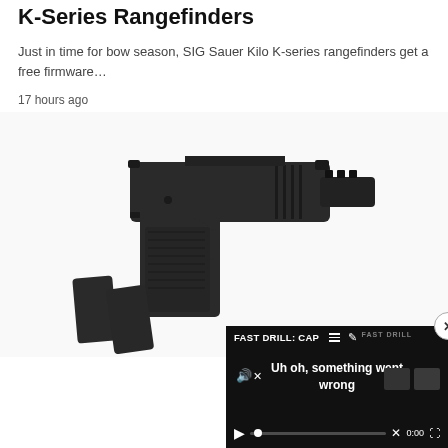SIG Sauer Activates Archery Mode For Kilo K-Series Rangefinders
Just in time for bow season, SIG Sauer Kilo K-series rangefinders get a free firmware…
17 hours ago
[Figure (photo): Photo of a black semi-automatic pistol (Springfield Prodigy style) with two detached magazines, on a white background]
Reviews
Springfield Prodigy: Best [Hands-On Review]
[Figure (screenshot): Video player overlay showing 'FAST DRILL: CAP' title and error message 'Uh oh, something went wrong' with playback controls showing 0:00]